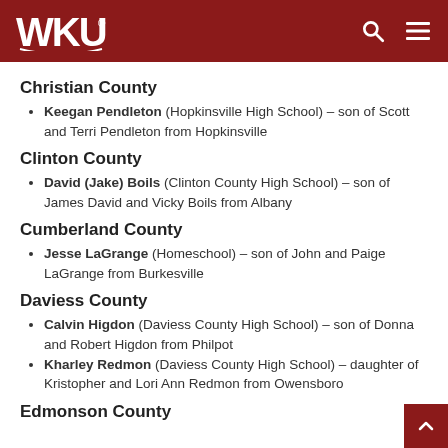WKU
Christian County
Keegan Pendleton (Hopkinsville High School) – son of Scott and Terri Pendleton from Hopkinsville
Clinton County
David (Jake) Boils (Clinton County High School) – son of James David and Vicky Boils from Albany
Cumberland County
Jesse LaGrange (Homeschool) – son of John and Paige LaGrange from Burkesville
Daviess County
Calvin Higdon (Daviess County High School) – son of Donna and Robert Higdon from Philpot
Kharley Redmon (Daviess County High School) – daughter of Kristopher and Lori Ann Redmon from Owensboro
Edmonson County